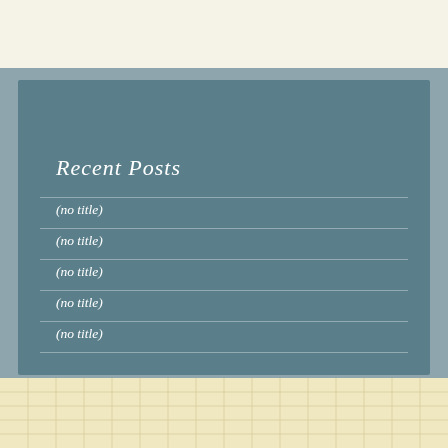Recent Posts
(no title)
(no title)
(no title)
(no title)
(no title)